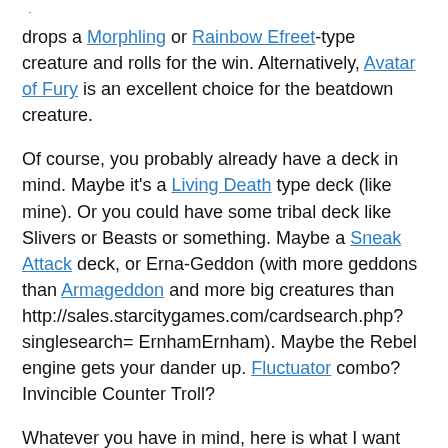drops a Morphling or Rainbow Efreet-type creature and rolls for the win. Alternatively, Avatar of Fury is an excellent choice for the beatdown creature.
Of course, you probably already have a deck in mind. Maybe it's a Living Death type deck (like mine). Or you could have some tribal deck like Slivers or Beasts or something. Maybe a Sneak Attack deck, or Erna-Geddon (with more geddons than Armageddon and more big creatures than http://sales.starcitygames.com/cardsearch.php?singlesearch= ErnhamErnham). Maybe the Rebel engine gets your dander up. Fluctuator combo? Invincible Counter Troll?
Whatever you have in mind, here is what I want you to do over the next week. Think about your deck. If it were just sixty cards, how would you build it? Then think about what you would have to cut to bring your deck don to sixty